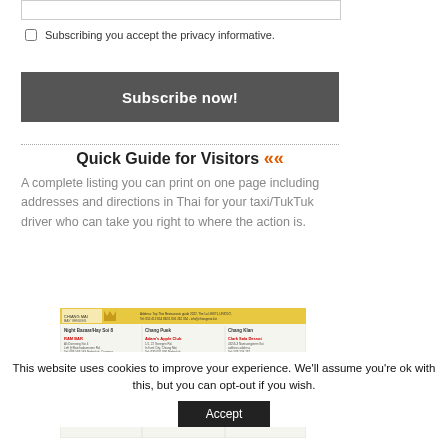Subscribing you accept the privacy informative.
Subscribe now!
Quick Guide for Visitors
A complete listing you can print on one page including addresses and directions in Thai for your taxi/TukTuk driver who can take you right to where the action is.
[Figure (screenshot): Screenshot of a Chiang Mai Bay Venues guide document showing venue listings for Night Bazaar/Hay Soi 6, Chang Puek, and Chang Klan areas.]
This website uses cookies to improve your experience. We'll assume you're ok with this, but you can opt-out if you wish.
Accept